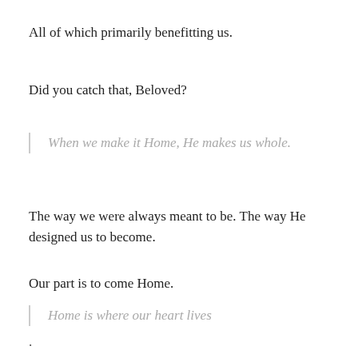All of which primarily benefitting us.
Did you catch that, Beloved?
When we make it Home, He makes us whole.
The way we were always meant to be. The way He designed us to become.
Our part is to come Home.
Home is where our heart lives
.